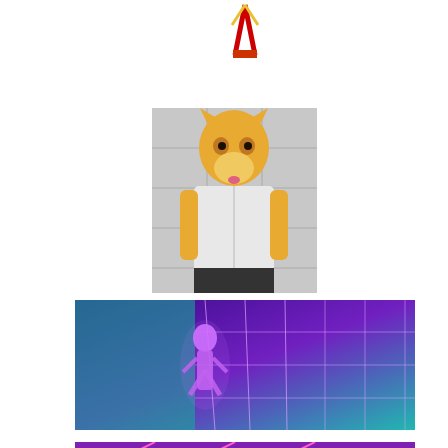[Figure (illustration): Anime/cartoon style illustration with hexagonal honeycomb pattern background in green, orange, and red colors, with a character figure visible at the top center]
[Figure (photo): Photo of a fursuit/costume of a yellow cat-like anthropomorphic character wearing a white shirt, with orange eyes, in what appears to be a bathroom setting]
[Figure (illustration): Digital art or game screenshot with purple and teal neon colors showing a glowing purple anthropomorphic figure in a grid-like neon environment]
[Figure (illustration): Partial view of another neon-colored digital illustration with pink/purple tones, showing geometric lines, cropped at bottom of page]